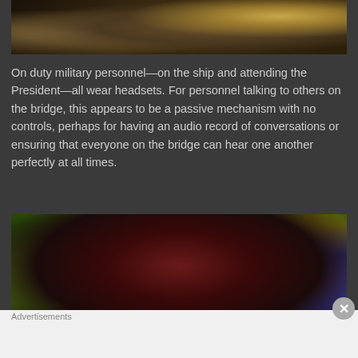[Figure (photo): Dark close-up photo of a military officer or official in dim lighting with gold/yellow tones, appears to be in a command/bridge setting]
On duty military personnel—on the ship and attending the President—all wear headsets. For personnel talking to others on the bridge, this appears to be a passive mechanism with no controls, perhaps for having an audio record of conversations or ensuring that everyone on the bridge can hear one another perfectly at all times.
[Figure (photo): Dark photo of a person wearing a large headset, lit with reddish tones in the center and green/yellow and purple tones in the background]
Advertisements
[Figure (screenshot): DuckDuckGo advertisement banner: 'Search, browse, and email with more privacy. All in One Free App' with DuckDuckGo logo]